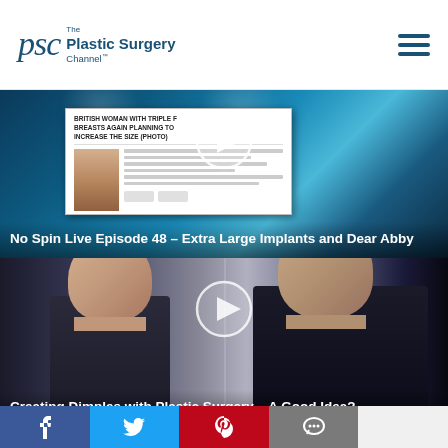PSC The Plastic Surgery Channel
[Figure (screenshot): Video thumbnail for 'No Spin Live Episode 48 – Extra Large Implants and Dear Abby' showing a TV studio with a monitor displaying a news article about breast implants]
No Spin Live Episode 48 – Extra Large Implants and Dear Abby
[Figure (screenshot): Video thumbnail for 'Creating Dimples with Plastic Surgery – A Good Idea?' showing two men in suits being interviewed]
Creating Dimples with Plastic Surgery – A Good Idea?
[Figure (screenshot): Video thumbnail for 'PSC Deep Dive: Breast Implant Safety and Disease, Part 4' showing a dark/black background]
PSC Deep Dive: Breast Implant Safety and Disease, Part 4
f  Twitter  Pinterest  Comment